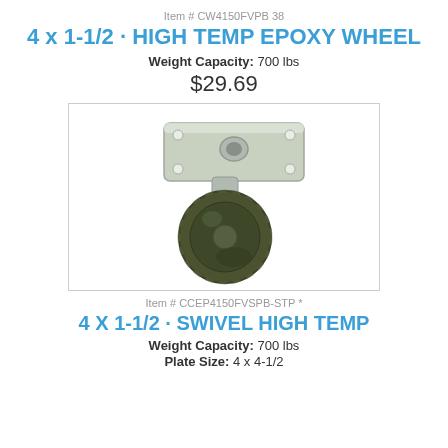Item # CW4150FVPB 38
4 x 1-1/2 · HIGH TEMP EPOXY WHEEL
Weight Capacity: 700 lbs
$29.69
[Figure (photo): A swivel caster wheel with a dark olive/green high temp epoxy wheel and a silver metal top plate with mounting holes.]
Item # CCEP4150FVSPB-STP *
4 X 1-1/2 · SWIVEL HIGH TEMP
Weight Capacity: 700 lbs
Plate Size: 4 x 4-1/2